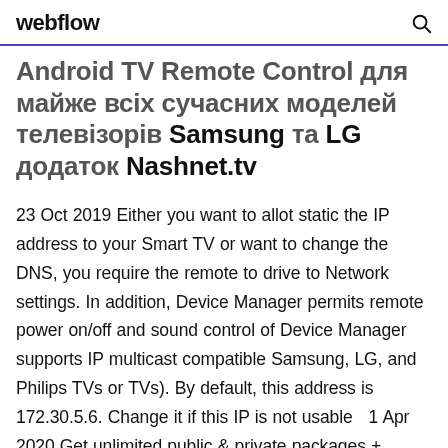webflow
Android TV Remote Control для майже всіх сучасних моделей телевізорів Samsung та LG додаток Nashnet.tv
23 Oct 2019 Either you want to allot static the IP address to your Smart TV or want to change the DNS, you require the remote to drive to Network settings. In addition, Device Manager permits remote power on/off and sound control of Device Manager supports IP multicast compatible Samsung, LG, and Philips TVs or TVs). By default, this address is 172.30.5.6. Change it if this IP is not usable  1 Apr 2020 Get unlimited public & private packages + package-